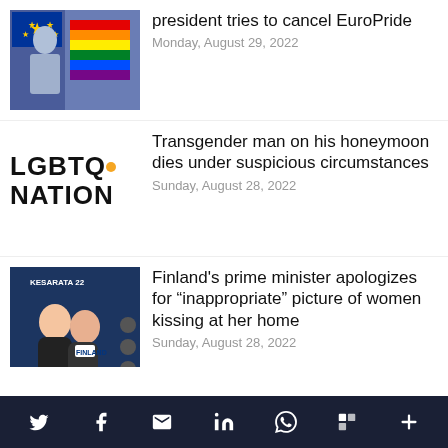[Figure (photo): Person holding EU flag and rainbow pride flag at rally]
president tries to cancel EuroPride
Monday, August 29, 2022
[Figure (logo): LGBTQ Nation logo]
Transgender man on his honeymoon dies under suspicious circumstances
Sunday, August 28, 2022
[Figure (photo): Two women kissing at Kesarata 22 event, one wearing Finland sash]
Finland's prime minister apologizes for “inappropriate” picture of women kissing at her home
Sunday, August 28, 2022
[Figure (photo): Crowd with rainbow pride flag and #LoveWins sign at Japan street protest]
Transgender woman in Japan denied parental rights to her own child